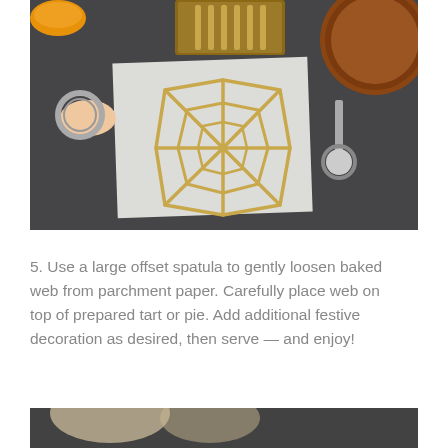[Figure (photo): Overhead photo on dark slate surface showing a spiderweb shape made from pastry strips laid on parchment paper. A hand holds a round cutter on the left, a pizza wheel cutter is on the right, a wooden cutting board with pastry strips is in the upper center, and a round tart is partially visible in the upper right.]
5. Use a large offset spatula to gently loosen baked web from parchment paper. Carefully place web on top of prepared tart or pie. Add additional festive decoration as desired, then serve — and enjoy!
[Figure (photo): Partial photo at bottom of page showing a close-up of what appears to be pastry or food item on a dark background, cropped at the page edge.]